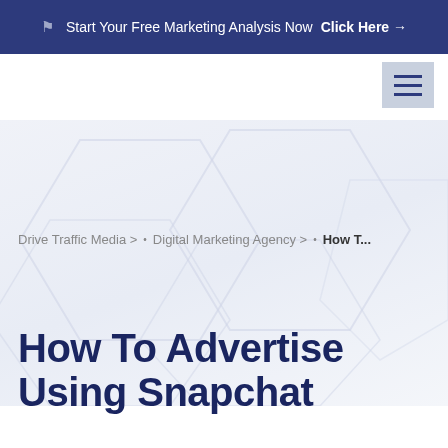Start Your Free Marketing Analysis Now Click Here →
[Figure (other): Hamburger menu icon button with three horizontal lines on a light blue-gray background in the top-right navigation area]
[Figure (other): Hero background section with light blue-gray gradient and faint hexagon/honeycomb watermark pattern]
Drive Traffic Media > • Digital Marketing Agency > • How T...
How To Advertise Using Snapchat